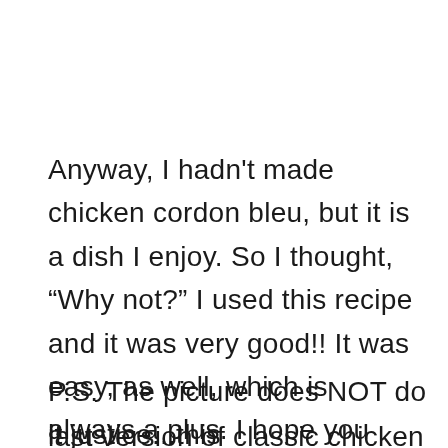Anyway, I hadn't made chicken cordon bleu, but it is a dish I enjoy. So I thought, “Why not?” I used this recipe and it was very good!! It was easy, as well, which is always a plus. I hope you like this recipe as much as we did!
P.S. The picture does NOT do it justice...this
[partially visible line cut off at bottom]